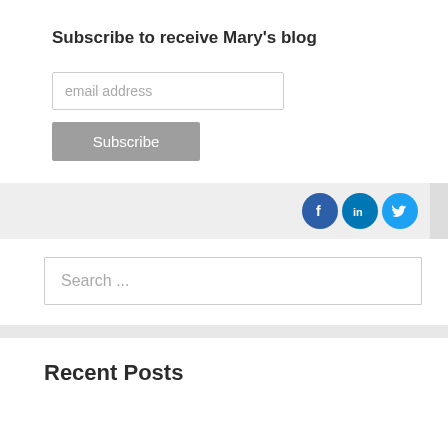Subscribe to receive Mary's blog
[Figure (screenshot): Email address input field with placeholder text 'email address']
[Figure (screenshot): Subscribe button with gray background]
[Figure (screenshot): Social media icons bar with Facebook, LinkedIn, and Twitter icons on a light gray background]
[Figure (screenshot): Search input field with placeholder text 'Search ...']
Recent Posts